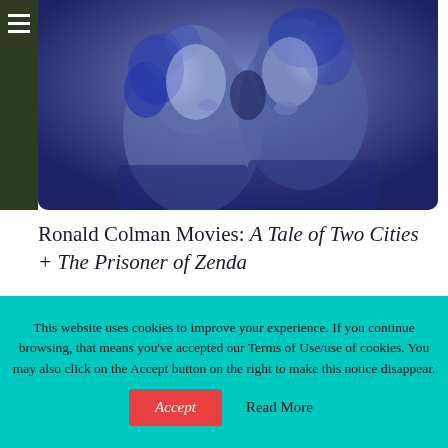[Figure (photo): Blue-tinted vintage romantic photo of two people about to kiss, styled like a 1930s film still]
Ronald Colman Movies: A Tale of Two Cities + The Prisoner of Zenda
Ronald Colman: Turner Classic Movies' Star of the Month in two major 1930s classics Updated: Turner Classic Movies' July 2017 Star of the
This website uses cookies to improve your experience. If you continue browsing, that means you've accepted our Terms of Use/use of cookies. You may also click on the Accept button on the right to make this notice disappear.